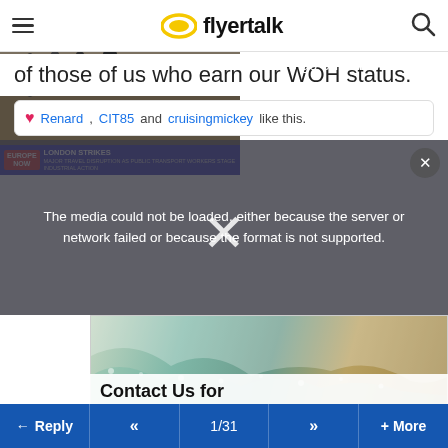flyertalk
of those of us who earn our WOH status.
Renard, CIT85 and cruisingmickey like this.
[Figure (screenshot): Video player showing London Strikes news segment with media error overlay. Error message: 'The media could not be loaded, either because the server or network failed or because the format is not supported.' Video caption reads 'Major travel disruption in London as public transport workers go on strike'. News lower-third shows 'LONDON STRIKES - MAJOR TRAVEL DISRUPTION AS PUBLIC TRANSPORT WORKERS STAGE INDUSTRIAL ACTION'. A large X close button is visible in the center.]
[Figure (photo): Aerial satellite photo of a coastline showing teal ocean water and sandy/rocky terrain. Below it shows text 'Contact Us for Information'.]
← Reply  «  1/31  »  + More